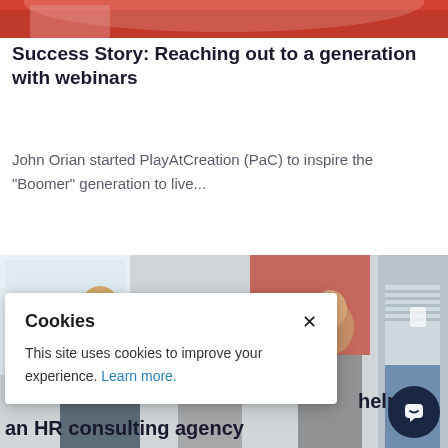[Figure (photo): Partial photo of a person in a red top, cropped at the top of the page]
Success Story: Reaching out to a generation with webinars
John Orian started PlayAtCreation (PaC) to inspire the "Boomer" generation to live...
[Figure (photo): Group of people (women) laughing and smiling together in a bright office/meeting room setting]
Cookies
This site uses cookies to improve your experience. Learn more.
help b
an HR consulting agency